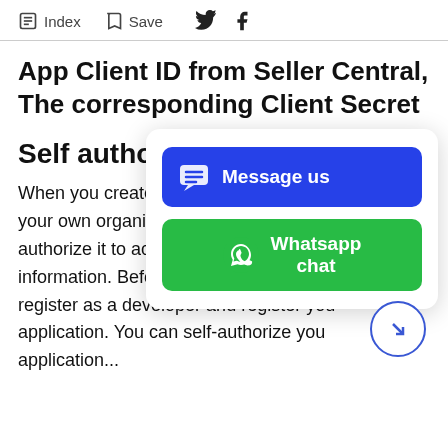Index  Save
App Client ID from Seller Central, The corresponding Client Secret
Self authoriza
When you create a p your own organizatio authorize it to access information. Before d register as a developer and register you application. You can self-authorize you application...
[Figure (screenshot): Floating chat widget with 'Message us' blue button and 'Whatsapp chat' green button overlay, plus a circular arrow navigation button in the bottom right]